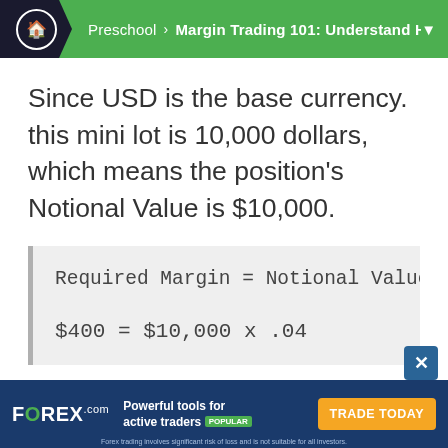Preschool > Margin Trading 101: Understand H...
Since USD is the base currency. this mini lot is 10,000 dollars, which means the position's Notional Value is $10,000.
FOREX.com — Powerful tools for active traders POPULAR — TRADE TODAY — Forex trading involves significant risk of loss and is not suitable for all investors.